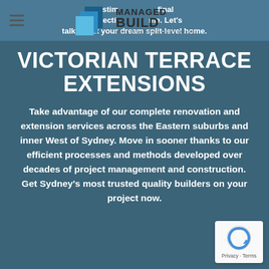[Figure (logo): Managed Build Construction & Renovation logo with blue building icon and text]
testing... final inspection... home. Let's talk about your dream split-level home.
VICTORIAN TERRACE EXTENSIONS
Take advantage of our complete renovation and extension services across the Eastern suburbs and inner West of Sydney. Move in sooner thanks to our efficient processes and methods developed over decades of project management and construction. Get Sydney's most trusted quality builders on your project now.
[Figure (logo): reCAPTCHA badge with Privacy and Terms links]